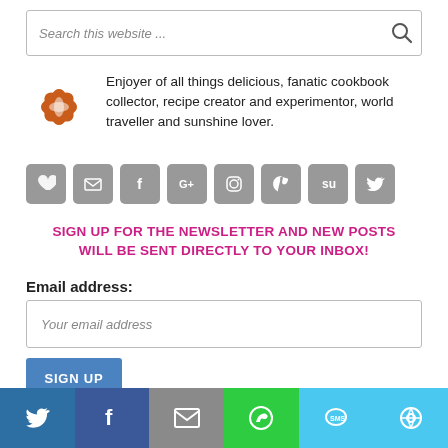Search this website ...
Enjoyer of all things delicious, fanatic cookbook collector, recipe creator and experimentor, world traveller and sunshine lover.
[Figure (infographic): Row of 8 gray rounded square social media icons: heart, email, Facebook, Google+, Instagram, Pinterest, Stumbleupon, Twitter]
SIGN UP FOR THE NEWSLETTER AND NEW POSTS WILL BE SENT DIRECTLY TO YOUR INBOX!
Email address:
Your email address
SIGN UP
[Figure (infographic): Footer bar with 6 colored segments containing social sharing icons: Twitter (blue), Facebook (dark blue), Email (gray), WhatsApp (green), SMS (cyan), other (cyan)]